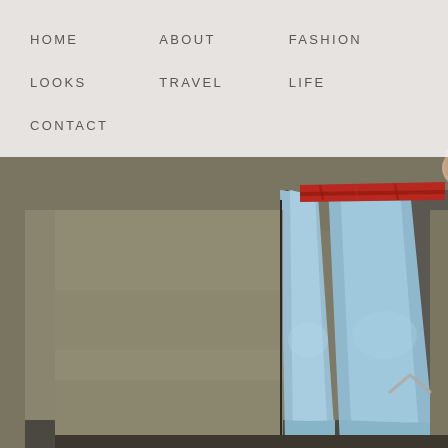[Figure (photo): Person wearing blue jeans with rolled cuffs and dark shoes, red plaid shirt visible at top, standing against a textured concrete/stone wall with vertical seam]
HOME   ABOUT   FASHION   LOOKS   TRAVEL   LIFE   CONTACT